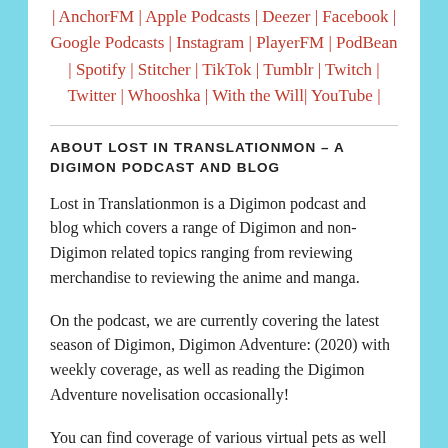| AnchorFM | Apple Podcasts | Deezer | Facebook | Google Podcasts | Instagram | PlayerFM | PodBean | Spotify | Stitcher | TikTok | Tumblr | Twitch | Twitter | Whooshka | With the Will | YouTube |
ABOUT LOST IN TRANSLATIONMON – A DIGIMON PODCAST AND BLOG
Lost in Translationmon is a Digimon podcast and blog which covers a range of Digimon and non-Digimon related topics ranging from reviewing merchandise to reviewing the anime and manga.
On the podcast, we are currently covering the latest season of Digimon, Digimon Adventure: (2020) with weekly coverage, as well as reading the Digimon Adventure novelisation occasionally!
You can find coverage of various virtual pets as well as the